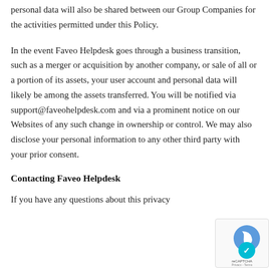personal data will also be shared between our Group Companies for the activities permitted under this Policy.
In the event Faveo Helpdesk goes through a business transition, such as a merger or acquisition by another company, or sale of all or a portion of its assets, your user account and personal data will likely be among the assets transferred. You will be notified via support@faveohelpdesk.com and via a prominent notice on our Websites of any such change in ownership or control. We may also disclose your personal information to any other third party with your prior consent.
Contacting Faveo Helpdesk
If you have any questions about this privacy